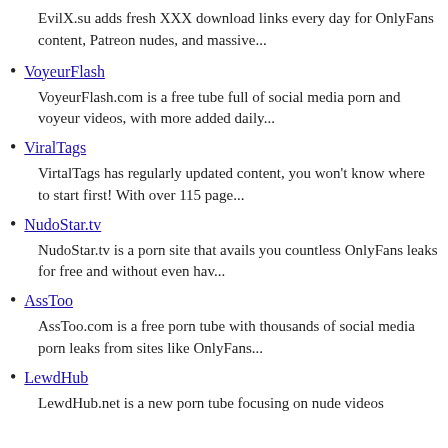EvilX.su adds fresh XXX download links every day for OnlyFans content, Patreon nudes, and massive...
VoyeurFlash
VoyeurFlash.com is a free tube full of social media porn and voyeur videos, with more added daily...
ViralTags
VirtalTags has regularly updated content, you won't know where to start first! With over 115 page...
NudoStar.tv
NudoStar.tv is a porn site that avails you countless OnlyFans leaks for free and without even hav...
AssToo
AssToo.com is a free porn tube with thousands of social media porn leaks from sites like OnlyFans...
LewdHub
LewdHub.net is a new porn tube focusing on nude videos